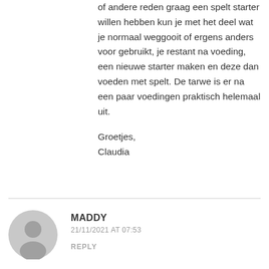of andere reden graag een spelt starter willen hebben kun je met het deel wat je normaal weggooit of ergens anders voor gebruikt, je restant na voeding, een nieuwe starter maken en deze dan voeden met spelt. De tarwe is er na een paar voedingen praktisch helemaal uit.

Groetjes,
Claudia
MADDY
21/11/2021 AT 07:53
REPLY